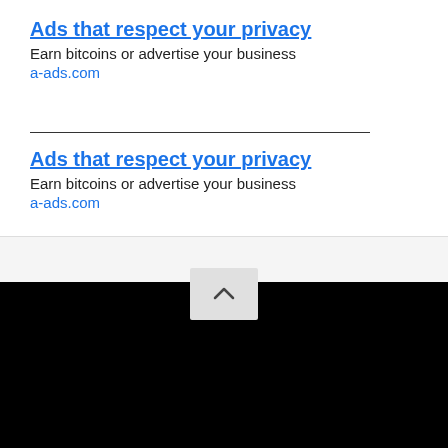Ads that respect your privacy
Earn bitcoins or advertise your business
a-ads.com
Ads that respect your privacy
Earn bitcoins or advertise your business
a-ads.com
[Figure (logo): NSFW LEAK logo in red and grey text on black background]